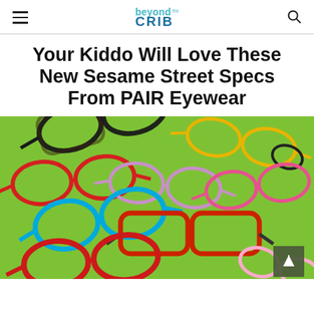beyond the CRIB
Your Kiddo Will Love These New Sesame Street Specs From PAIR Eyewear
[Figure (photo): Multiple colorful children's eyeglass frames (red, blue, black tortoiseshell, multicolor patterned) arranged flat on a bright green background. One pair stands upright in the center-lower area. A scroll-to-top button is visible in the bottom-right corner.]